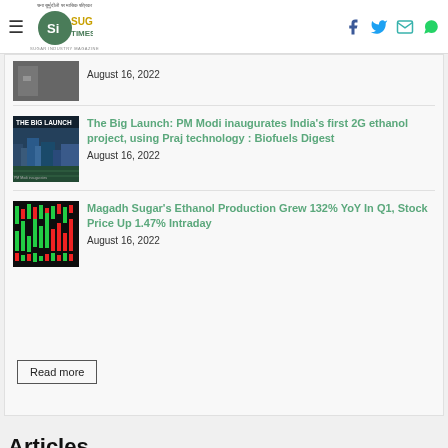Sugar Times — Sugar Industry Magazine
The Big Launch: PM Modi inaugurates India's first 2G ethanol project, using Praj technology : Biofuels Digest — August 16, 2022
Magadh Sugar's Ethanol Production Grew 132% YoY In Q1, Stock Price Up 1.47% Intraday — August 16, 2022
Read more
Articles